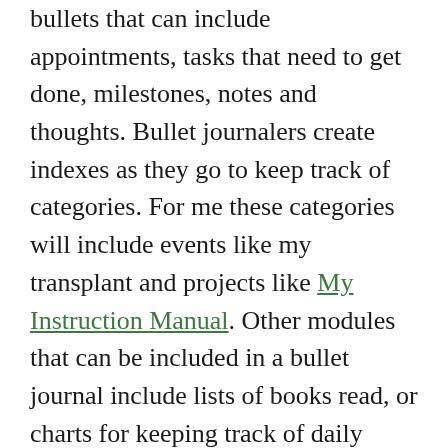bullets that can include appointments, tasks that need to get done, milestones, notes and thoughts. Bullet journalers create indexes as they go to keep track of categories. For me these categories will include events like my transplant and projects like My Instruction Manual. Other modules that can be included in a bullet journal include lists of books read, or charts for keeping track of daily resolutions. (More on tracking daily resolutions in tomorrow's blog post.)
Since I'm not going to get into all the ins and outs of creating a bullet journal here, I refer you to the excellent Buzzfeed post WTF is a Bullet